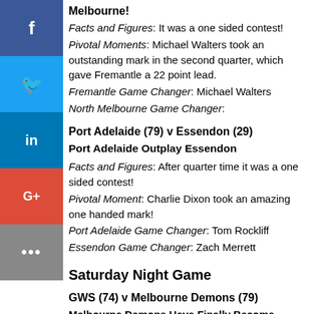Melbourne!
Facts and Figures: It was a one sided contest!
Pivotal Moments: Michael Walters took an outstanding mark in the second quarter, which gave Fremantle a 22 point lead.
Fremantle Game Changer: Michael Walters
North Melbourne Game Changer:
Port Adelaide (79) v Essendon (29)
Port Adelaide Outplay Essendon
Facts and Figures: After quarter time it was a one sided contest!
Pivotal Moment: Charlie Dixon took an amazing one handed mark!
Port Adelaide Game Changer: Tom Rockliff
Essendon Game Changer: Zach Merrett
Saturday Night Game
GWS (74) v Melbourne Demons (79)
Melbourne Demons Have Finally Become Alive...